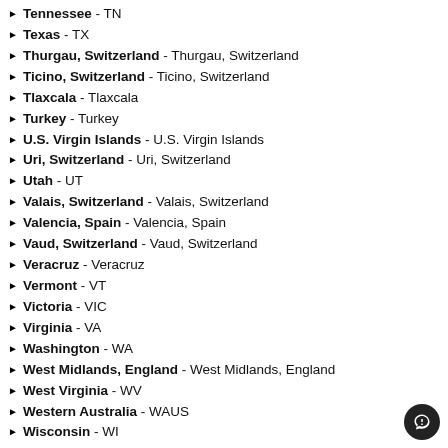Tennessee - TN
Texas - TX
Thurgau, Switzerland - Thurgau, Switzerland
Ticino, Switzerland - Ticino, Switzerland
Tlaxcala - Tlaxcala
Turkey - Turkey
U.S. Virgin Islands - U.S. Virgin Islands
Uri, Switzerland - Uri, Switzerland
Utah - UT
Valais, Switzerland - Valais, Switzerland
Valencia, Spain - Valencia, Spain
Vaud, Switzerland - Vaud, Switzerland
Veracruz - Veracruz
Vermont - VT
Victoria - VIC
Virginia - VA
Washington - WA
West Midlands, England - West Midlands, England
West Virginia - WV
Western Australia - WAUS
Wisconsin - WI
Wyoming - WY